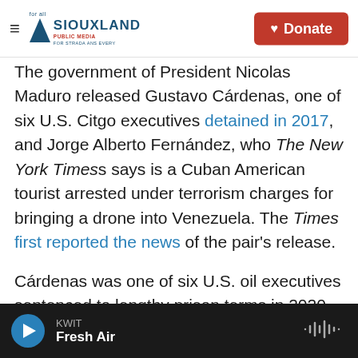Siouxland Public Media — Donate
The government of President Nicolas Maduro released Gustavo Cárdenas, one of six U.S. Citgo executives detained in 2017, and Jorge Alberto Fernández, who The New York Times says is a Cuban American tourist arrested under terrorism charges for bringing a drone into Venezuela. The Times first reported the news of the pair's release.
Cárdenas was one of six U.S. oil executives sentenced to lengthy prison terms in 2020 in the South American country on charges of embezzlement tied to a never-executed proposal to refinance around $4 billion of Citgo bonds. All
KWIT — Fresh Air